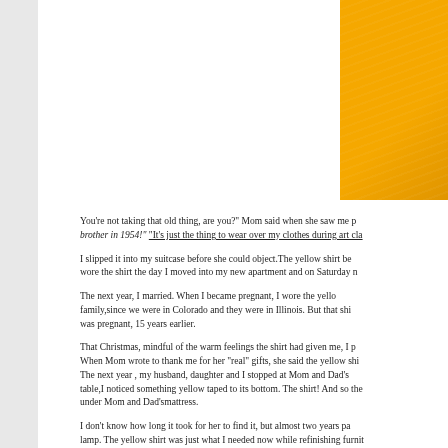[Figure (photo): Partial view of a yellow shirt or fabric in the upper right corner of the page]
You're not taking that old thing, are you?" Mom said when she saw me p... brother in 1954!" "It's just the thing to wear over my clothes during art cla...
I slipped it into my suitcase before she could object.The yellow shirt be... wore the shirt the day I moved into my new apartment and on Saturday n...
The next year, I married. When I became pregnant, I wore the yello... family,since we were in Colorado and they were in Illinois. But that shi... was pregnant, 15 years earlier.
That Christmas, mindful of the warm feelings the shirt had given me, I p... When Mom wrote to thank me for her "real" gifts, she said the yellow shi... The next year , my husband, daughter and I stopped at Mom and Dad's ... table,I noticed something yellow taped to its bottom. The shirt! And so the... under Mom and Dad'smattress.
I don't know how long it took for her to find it, but almost two years pa... lamp. The yellow shirt was just what I needed now while refinishing furnit...